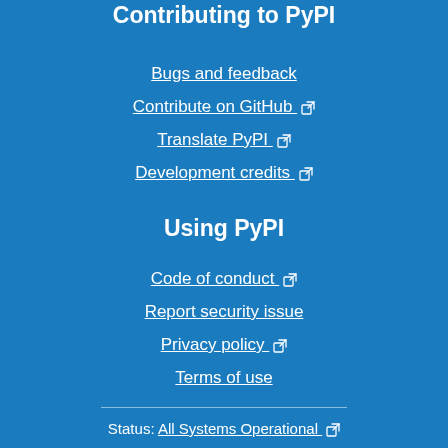Contributing to PyPI
Bugs and feedback
Contribute on GitHub ↗
Translate PyPI ↗
Development credits ↗
Using PyPI
Code of conduct ↗
Report security issue
Privacy policy ↗
Terms of use
Status: All Systems Operational ↗